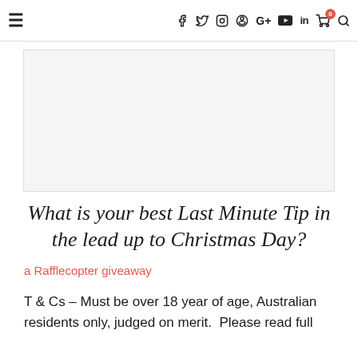≡  f  𝕏  ○  ◎  G+  ▶  in  🛒0  🔍
[Figure (photo): Large image placeholder area with light gray background]
What is your best Last Minute Tip in the lead up to Christmas Day?
a Rafflecopter giveaway
T & Cs – Must be over 18 year of age, Australian residents only, judged on merit.  Please read full